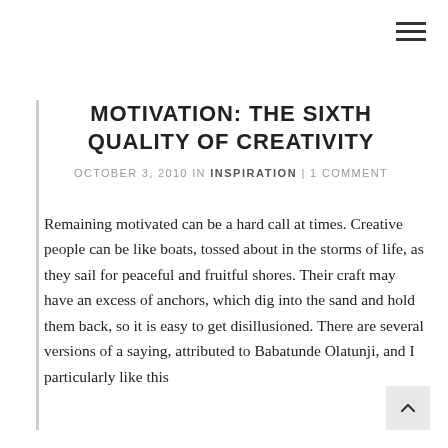MOTIVATION: THE SIXTH QUALITY OF CREATIVITY
OCTOBER 3, 2010 IN INSPIRATION | 1 COMMENT
Remaining motivated can be a hard call at times. Creative people can be like boats, tossed about in the storms of life, as they sail for peaceful and fruitful shores. Their craft may have an excess of anchors, which dig into the sand and hold them back, so it is easy to get disillusioned. There are several versions of a saying, attributed to Babatunde Olatunji, and I particularly like this